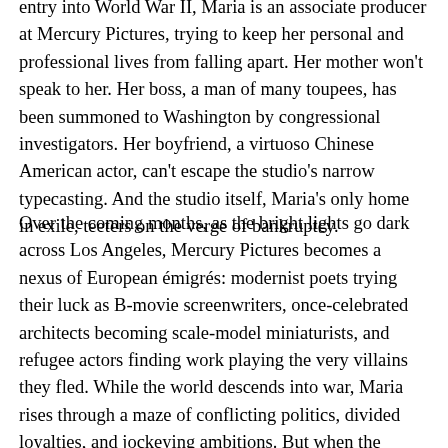entry into World War II, Maria is an associate producer at Mercury Pictures, trying to keep her personal and professional lives from falling apart. Her mother won't speak to her. Her boss, a man of many toupees, has been summoned to Washington by congressional investigators. Her boyfriend, a virtuoso Chinese American actor, can't escape the studio's narrow typecasting. And the studio itself, Maria's only home in exile, teeters on the verge of bankruptcy.
Over the coming months, as the bright lights go dark across Los Angeles, Mercury Pictures becomes a nexus of European émigrés: modernist poets trying their luck as B-movie screenwriters, once-celebrated architects becoming scale-model miniaturists, and refugee actors finding work playing the very villains they fled. While the world descends into war, Maria rises through a maze of conflicting politics, divided loyalties, and jockeying ambitions. But when the arrival of a stranger from her father's past threatens Maria's carefully constructed facade, she must finally confront her father's fate—and